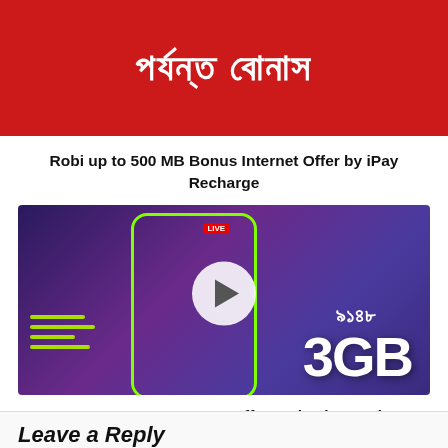[Figure (illustration): Red background promotional banner with Bengali text 'পর্যন্ত বোনাস' in white, with a red/white circular logo at top]
Robi up to 500 MB Bonus Internet Offer by iPay Recharge
[Figure (photo): GP 3GB internet offer promotional image: dark purple/blue background with a person holding a phone, glowing green phone outline, '3GB' large white text, Bengali digits '৯১৪৮', LIVE badge, and a play button circle overlay]
GP 3GB 148 TK Internet Offer Activation Code, Validity & More
Leave a Reply